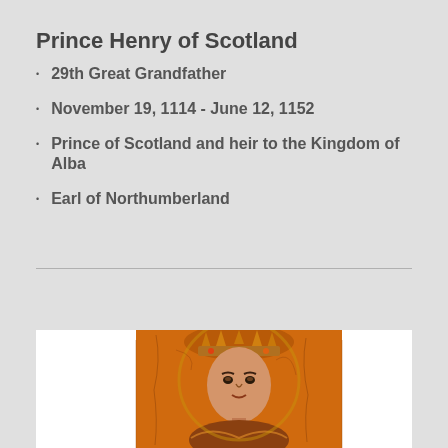Prince Henry of Scotland
29th Great Grandfather
November 19, 1114 - June 12, 1152
Prince of Scotland and heir to the Kingdom of Alba
Earl of Northumberland
[Figure (photo): Medieval illuminated manuscript image of a crowned figure, likely a king or prince, with orange/golden hues typical of medieval manuscript art]